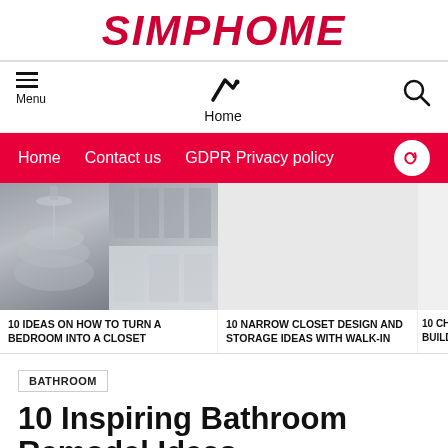SIMPHOME
[Figure (screenshot): Navigation bar with hamburger menu icon and Menu label on left, home trending icon with Home label in center, search icon on right]
[Figure (infographic): Red navigation bar with links: Home, Contact us, GDPR Privacy policy, and dark mode toggle]
[Figure (photo): Article card strip showing three article previews: '10 IDEAS ON HOW TO TURN A BEDROOM INTO A CLOSET' with chandelier and closet photos, '10 NARROW CLOSET DESIGN AND STORAGE IDEAS WITH WALK-IN' with gray placeholder, '10 CHEAP BUILD BAC...' partially visible]
10 IDEAS ON HOW TO TURN A BEDROOM INTO A CLOSET
10 NARROW CLOSET DESIGN AND STORAGE IDEAS WITH WALK-IN
10 CHEAP BUILD BAC
BATHROOM
10 Inspiring Bathroom Remodel Ideas